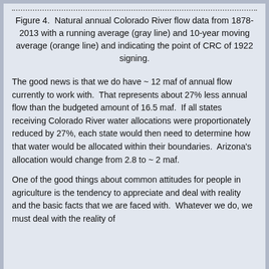Figure 4.  Natural annual Colorado River flow data from 1878-2013 with a running average (gray line) and 10-year moving average (orange line) and indicating the point of CRC of 1922 signing.
The good news is that we do have ~ 12 maf of annual flow currently to work with.  That represents about 27% less annual flow than the budgeted amount of 16.5 maf.  If all states receiving Colorado River water allocations were proportionately reduced by 27%, each state would then need to determine how that water would be allocated within their boundaries.  Arizona's allocation would change from 2.8 to ~ 2 maf.
One of the good things about common attitudes for people in agriculture is the tendency to appreciate and deal with reality and the basic facts that we are faced with.  Whatever we do, we must deal with the reality of